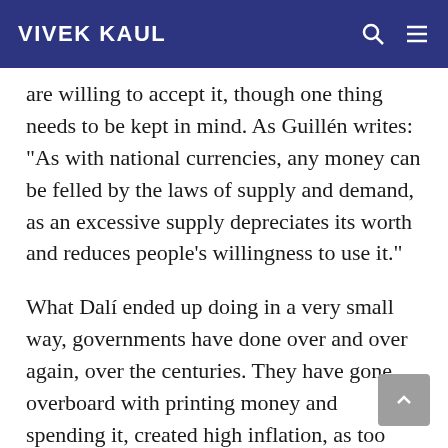VIVEK KAUL
are willing to accept it, though one thing needs to be kept in mind. As Guillén writes: “As with national currencies, any money can be felled by the laws of supply and demand, as an excessive supply depreciates its worth and reduces people’s willingness to use it.”
What Dalí ended up doing in a very small way, governments have done over and over again, over the centuries. They have gone overboard with printing money and spending it, created high inflation, as too much has chased the same set of goods and services, and in the process